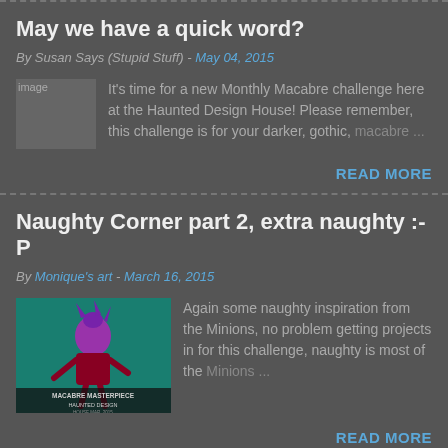May we have a quick word?
By Susan Says (Stupid Stuff) - May 04, 2015
It's time for a new Monthly Macabre challenge here at the Haunted Design House! Please remember, this challenge is for your darker, gothic, macabre ...
READ MORE
Naughty Corner part 2, extra naughty :-P
By Monique's art - March 16, 2015
Again some naughty inspiration from the Minions, no problem getting projects in for this challenge, naughty is most of the Minions ...
READ MORE